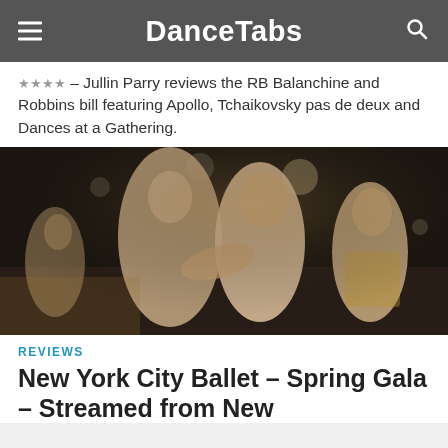DanceTabs
★★★★ – Jullin Parry reviews the RB Balanchine and Robbins bill featuring Apollo, Tchaikovsky pas de deux and Dances at a Gathering.
[Figure (photo): Ballet dancers embracing and smiling on stage, with other dancers visible in the background in gold costumes under stage lighting.]
REVIEWS
New York City Ballet – Spring Gala – Streamed from New